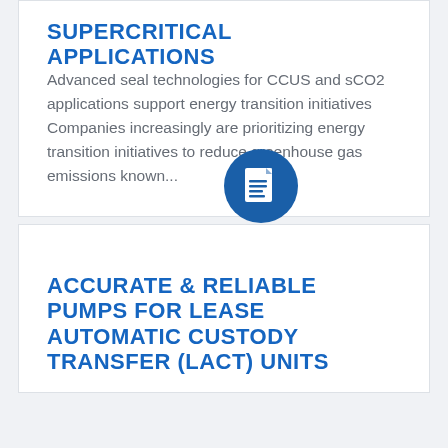SUPERCRITICAL APPLICATIONS
Advanced seal technologies for CCUS and sCO2 applications support energy transition initiatives Companies increasingly are prioritizing energy transition initiatives to reduce greenhouse gas emissions known...
[Figure (illustration): Blue circular icon containing a white document/paper with lines representing text]
ACCURATE & RELIABLE PUMPS FOR LEASE AUTOMATIC CUSTODY TRANSFER (LACT) UNITS